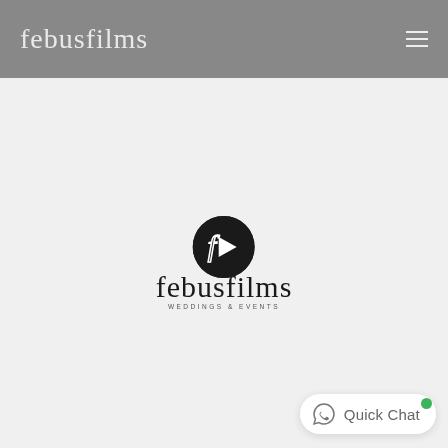febusfilms
[Figure (logo): Febusfilms logo: black circle with stylized F/play-button icon above cursive 'febusfilms' script text and small subtitle 'WEDDINGS & EVENTS']
[Figure (screenshot): Quick Chat button with WhatsApp icon, green online dot, bottom-right corner]